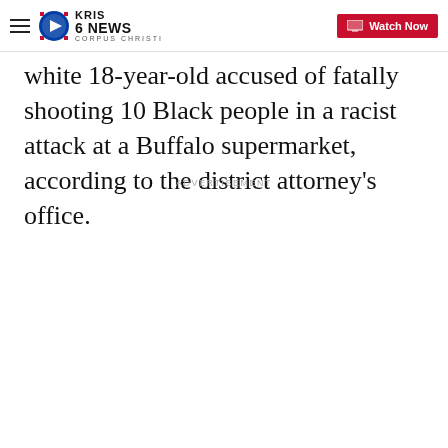KRIS 6 NEWS CORPUS CHRISTI | Watch Now
white 18-year-old accused of fatally shooting 10 Black people in a racist attack at a Buffalo supermarket, according to the district attorney’s office.
ADVERTISEMENT